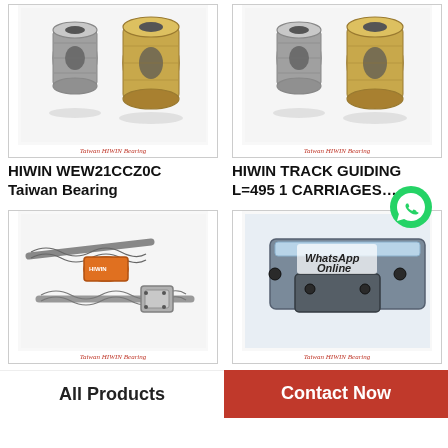[Figure (photo): HIWIN WEW21CCZ0C Taiwan Bearing - two linear ball bearings shown, with Taiwan HIWIN Bearing label]
HIWIN WEW21CCZ0C
Taiwan Bearing
[Figure (photo): HIWIN Track Guiding L=495 1 Carriages - two linear ball bearings shown, with Taiwan HIWIN Bearing label]
HIWIN TRACK GUIDING L=495 1 CARRIAGES…
[Figure (photo): Ball screw and nut assembly product photo with Taiwan HIWIN Bearing label]
[Figure (photo): HIWIN linear guide rail product photo with WhatsApp Online overlay and green WhatsApp icon, Taiwan HIWIN Bearing label]
All Products
Contact Now